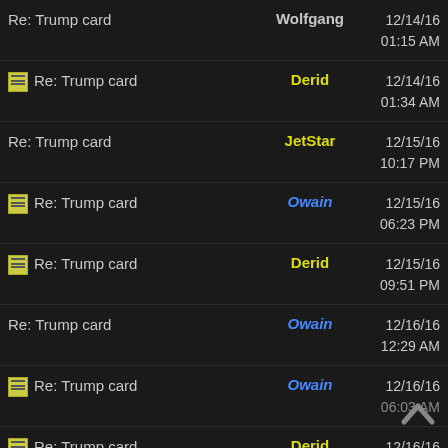Re: Trump card | Wolfgang | 12/14/16 01:15 AM
Re: Trump card | Derid | 12/14/16 01:34 AM
Re: Trump card | JetStar | 12/15/16 10:17 PM
Re: Trump card | Owain | 12/15/16 06:23 PM
Re: Trump card | Derid | 12/15/16 09:51 PM
Re: Trump card | Owain | 12/16/16 12:29 AM
Re: Trump card | Owain | 12/16/16 06:03 AM
Re: Trump card | Derid | 12/16/16 08:15 AM